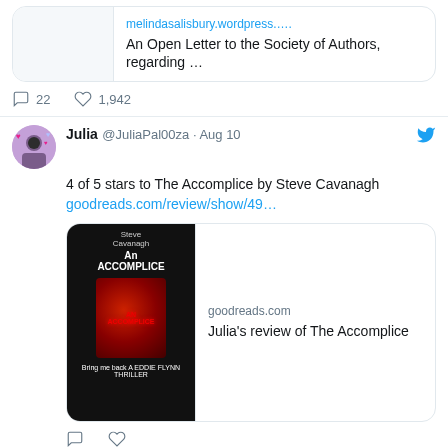[Figure (screenshot): Partial tweet showing a link card to melindasalisbury.wordpress.... with title 'An Open Letter to the Society of Authors, regarding ...' and engagement showing 22 comments and 1,942 likes]
[Figure (screenshot): Tweet by Julia @JuliaPal00za · Aug 10: '4 of 5 stars to The Accomplice by Steve Cavanagh goodreads.com/review/show/49...' with a Goodreads link card showing Julia's review of The Accomplice book cover]
[Figure (screenshot): Tweet by Julia @JuliaPal00za · Aug 8: 'Starting The Accomplice, by Steve Cavanagh goodreads.com/user_status/sh...']